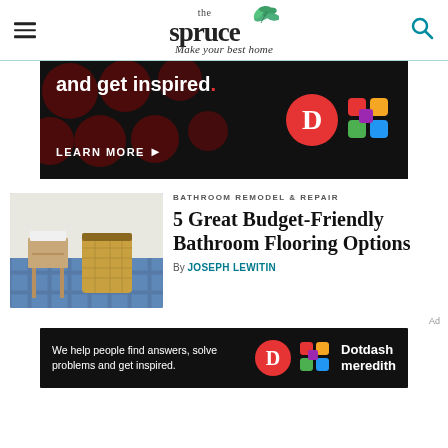the spruce — Make your best home
[Figure (screenshot): Advertisement banner with dark background, text 'and get inspired.' and 'LEARN MORE', with Dotdash D logo and colorful grid logo]
BATHROOM REMODEL & REPAIR
5 Great Budget-Friendly Bathroom Flooring Options
By JOSEPH LEWITIN
[Figure (photo): Bathroom floor photo showing blue tile flooring with a small wooden side table and wicker laundry basket]
[Figure (screenshot): Advertisement banner bottom: 'We help people find answers, solve problems and get inspired.' with Dotdash Meredith logo]